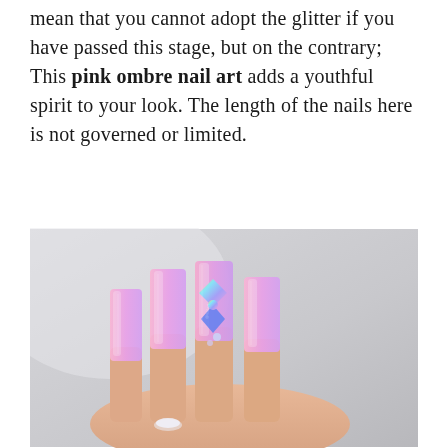mean that you cannot adopt the glitter if you have passed this stage, but on the contrary; This pink ombre nail art adds a youthful spirit to your look. The length of the nails here is not governed or limited.
[Figure (photo): Close-up photo of a hand with long square coffin-shaped nails painted in a pink-to-purple ombre gradient with iridescent shimmer and a holographic butterfly/ribbon rhinestone decoration on the middle finger nail. The hand is shown against a light grey background and wears a ring.]